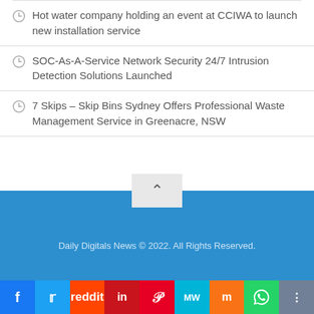Hot water company holding an event at CCIWA to launch new installation service
SOC-As-A-Service Network Security 24/7 Intrusion Detection Solutions Launched
7 Skips – Skip Bins Sydney Offers Professional Waste Management Service in Greenacre, NSW
Daily Digitals News © 2022. All Rights Reserved.